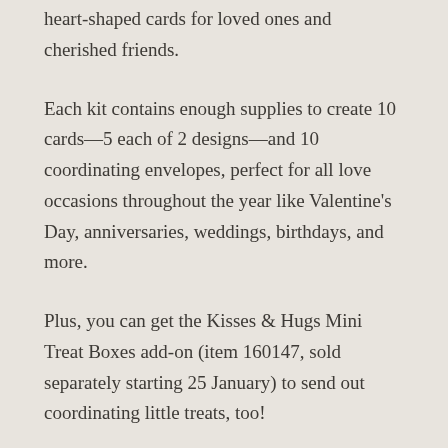heart-shaped cards for loved ones and cherished friends.
Each kit contains enough supplies to create 10 cards—5 each of 2 designs—and 10 coordinating envelopes, perfect for all love occasions throughout the year like Valentine's Day, anniversaries, weddings, birthdays, and more.
Plus, you can get the Kisses & Hugs Mini Treat Boxes add-on (item 160147, sold separately starting 25 January) to send out coordinating little treats, too!
ABOUT THE KIT